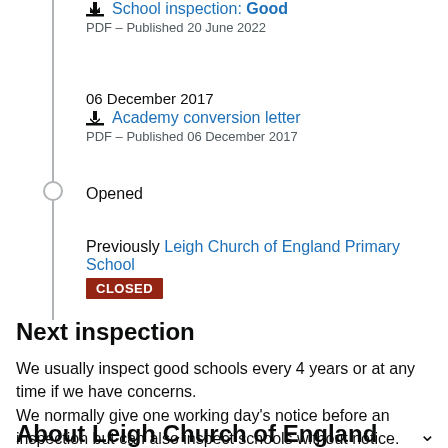School inspection: Good — PDF – Published 20 June 2022
06 December 2017 — Academy conversion letter — PDF – Published 06 December 2017
Opened
Previously Leigh Church of England Primary School CLOSED
Next inspection
We usually inspect good schools every 4 years or at any time if we have concerns.
We normally give one working day's notice before an inspection but can also inspect schools without notice.
About Leigh Church of England Academy